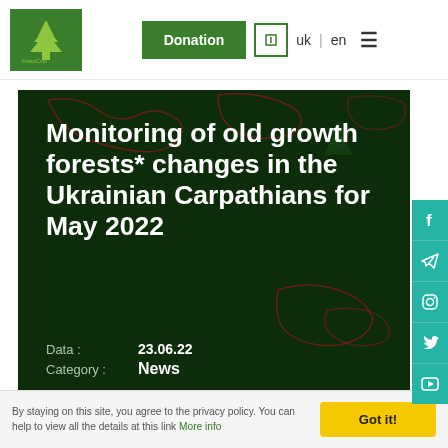ForestCron | Donation | uk | en
[Figure (screenshot): Hero image with dark green forest map background showing Ukrainian Carpathians region with red outlines on the map]
Monitoring of old growth forests* changes in the Ukrainian Carpathians for May 2022
Data : 23.06.22
Category : News
By staying on this site, you agree to the privacy policy. You can help to view all the details at this link More info
Got it!